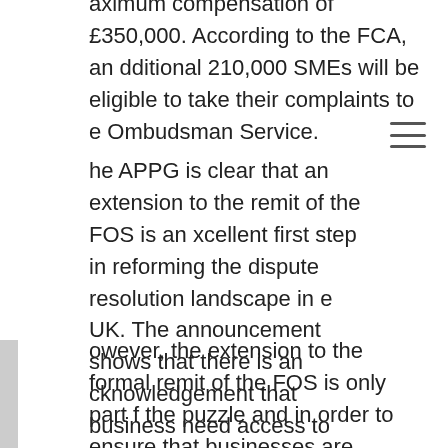aximum compensation of £350,000. According to the FCA, an dditional 210,000 SMEs will be eligible to take their complaints to e Ombudsman Service.
he APPG is clear that an extension to the remit of the FOS is an excellent first step in reforming the dispute resolution landscape in the UK. The announcement shows that there is an acknowledgement that business need access to justice to have confidence, take risks and thrive in the UK economy.
owever, the extension to the formal remit of the FOS is only part of the puzzle and in order to ensure that businesses are properly represented and have access to justice that is quick, cheap, efficient and crucially, accessible, the Government needs to introduce a complementary Financial Services Tribunal. This tribunal will be only mechanism, other than the courts, that will be able to compel witnesses, force the disclosure of information and hear judgements in a public court that can influence culture and behaviour.
he APPG is pleased to have the support from the FCA and from PRs as they recognise that these approaches are complementary